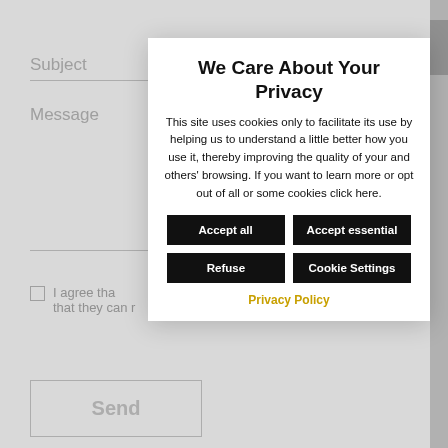We Care About Your Privacy
This site uses cookies only to facilitate its use by helping us to understand a little better how you use it, thereby improving the quality of your and others' browsing. If you want to learn more or opt out of all or some cookies click here.
Accept all
Accept essential
Refuse
Cookie Settings
Privacy Policy